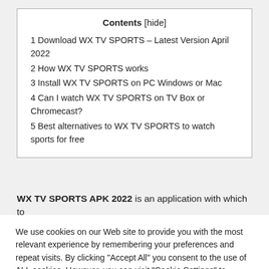| Contents [hide] |
| 1 Download WX TV SPORTS – Latest Version April 2022 |
| 2 How WX TV SPORTS works |
| 3 Install WX TV SPORTS on PC Windows or Mac |
| 4 Can I watch WX TV SPORTS on TV Box or Chromecast? |
| 5 Best alternatives to WX TV SPORTS to watch sports for free |
WX TV SPORTS APK 2022 is an application with which to
We use cookies on our Web site to provide you with the most relevant experience by remembering your preferences and repeat visits. By clicking "Accept All" you consent to the use of ALL cookies. However, you can visit "Cookie Settings" to provide controlled consent.
Read More   Cookie Settings   Accept All